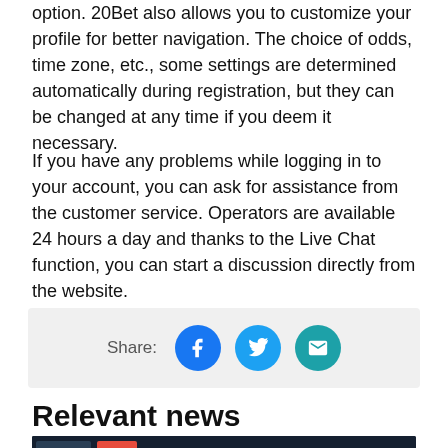option. 20Bet also allows you to customize your profile for better navigation. The choice of odds, time zone, etc., some settings are determined automatically during registration, but they can be changed at any time if you deem it necessary.
If you have any problems while logging in to your account, you can ask for assistance from the customer service. Operators are available 24 hours a day and thanks to the Live Chat function, you can start a discussion directly from the website.
[Figure (infographic): Share bar with Facebook, Twitter, and email icons]
Relevant news
[Figure (screenshot): Screenshot of 20Bet website showing sports betting interface with casino bonus banner 'BONUS DE BIENVENUE 100%']